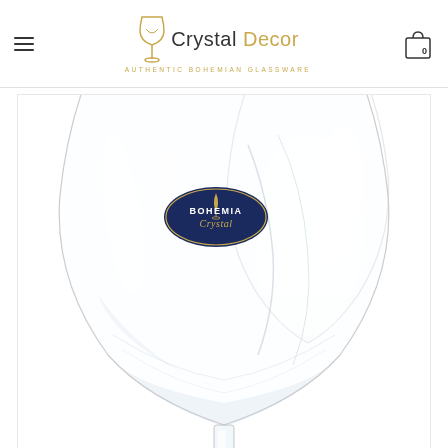Crystal Decor — AUTHENTIC BOHEMIAN GLASSWARE
[Figure (photo): Close-up photo of a clear Bohemia Crystal wine glass bowl with a dark navy blue oval label reading 'BOHEMIA Crystal' in gold lettering. The glass is highly transparent with light refractions visible. A second glass is partially visible behind it.]